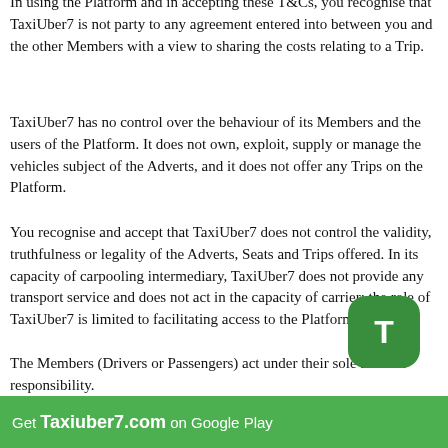In using the Platform and in accepting these T&Cs, you recognise that TaxiUber7 is not party to any agreement entered into between you and the other Members with a view to sharing the costs relating to a Trip.
TaxiUber7 has no control over the behaviour of its Members and the users of the Platform. It does not own, exploit, supply or manage the vehicles subject of the Adverts, and it does not offer any Trips on the Platform.
You recognise and accept that TaxiUber7 does not control the validity, truthfulness or legality of the Adverts, Seats and Trips offered. In its capacity of carpooling intermediary, TaxiUber7 does not provide any transport service and does not act in the capacity of carrier; the role of TaxiUber7 is limited to facilitating access to the Platform.
The Members (Drivers or Passengers) act under their sole and full responsibility.
In its capacity of intermediary, TaxiUber7 cannot be held liable for the effective occurrence of a Trip, and notably owing to:
1. erroneous information communicated by the Driver in his Advert, or by any other means, with regard to the Trip and its terms;